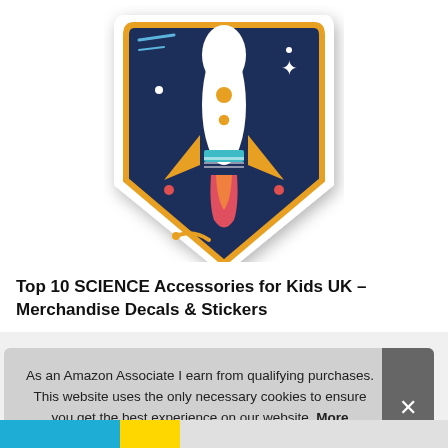[Figure (illustration): A rocket ship sticker/decal with a dark navy background shaped like a pentagon/shield pointing downward. The sticker shows a white rocket with orange fins and red flame, launching upward, with orange stars, white dots, and blue decorative lines on the dark background. The sticker has a white border and drop shadow.]
Top 10 SCIENCE Accessories for Kids UK – Merchandise Decals & Stickers
As an Amazon Associate I earn from qualifying purchases. This website uses the only necessary cookies to ensure you get the best experience on our website. More information
[Figure (photo): Bottom strip showing partial view of colorful product images]